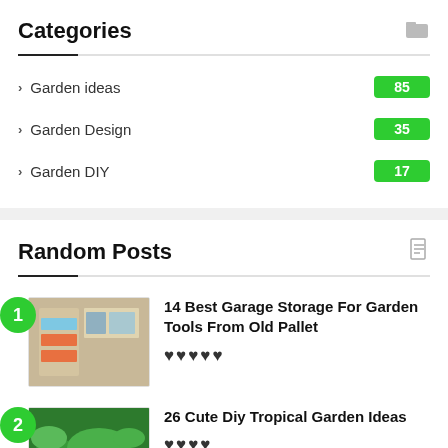Categories
Garden ideas — 85
Garden Design — 35
Garden DIY — 17
Random Posts
1. 14 Best Garage Storage For Garden Tools From Old Pallet
2. 26 Cute Diy Tropical Garden Ideas